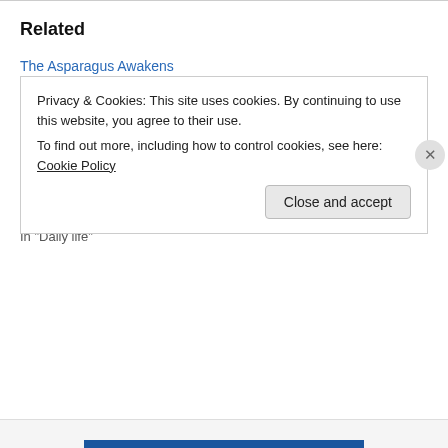Related
The Asparagus Awakens
April 16, 2010
In "Gardens"
Back to Blogging?
January 25, 2013
In "Bees"
Spring? Finally.
April 27, 2013
In "Daily life"
Privacy & Cookies: This site uses cookies. By continuing to use this website, you agree to their use. To find out more, including how to control cookies, see here: Cookie Policy
Close and accept